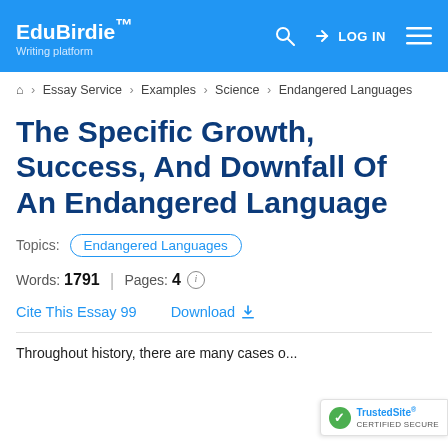EduBirdie™ Writing platform | LOG IN
Essay Service > Examples > Science > Endangered Languages
The Specific Growth, Success, And Downfall Of An Endangered Language
Topics: Endangered Languages
Words: 1791 | Pages: 4
Cite This Essay 99   Download
Throughout history, there are many cases o...